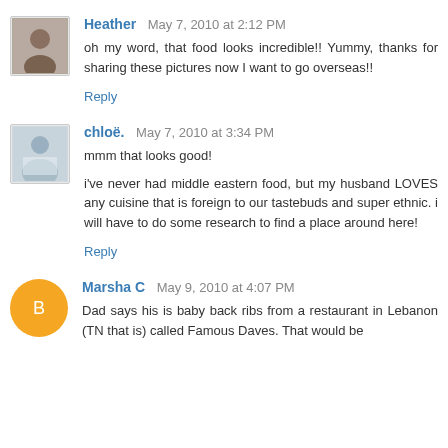Heather  May 7, 2010 at 2:12 PM
oh my word, that food looks incredible!! Yummy, thanks for sharing these pictures now I want to go overseas!!
Reply
chloë.  May 7, 2010 at 3:34 PM
mmm that looks good!
i've never had middle eastern food, but my husband LOVES any cuisine that is foreign to our tastebuds and super ethnic. i will have to do some research to find a place around here!
Reply
Marsha C  May 9, 2010 at 4:07 PM
Dad says his is baby back ribs from a restaurant in Lebanon (TN that is) called Famous Daves. That would be